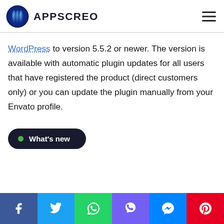APPSCREO
WordPress to version 5.5.2 or newer. The version is available with automatic plugin updates for all users that have registered the product (direct customers only) or you can update the plugin manually from your Envato profile.
What's new
Facebook Twitter WhatsApp Viber Messenger Pinterest